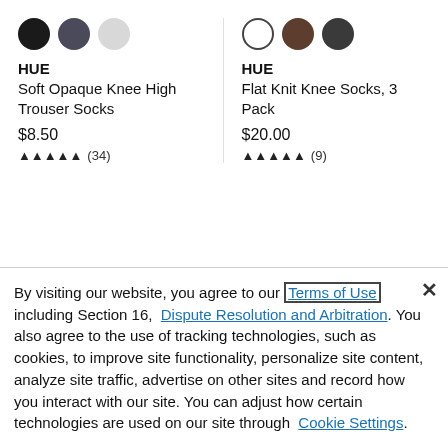[Figure (other): Color swatches for product 1: black, dark gray, light gray circles]
HUE
Soft Opaque Knee High Trouser Socks
$8.50
★★★★☆ (34)
[Figure (other): Color swatches for product 2: white (outlined), brown, charcoal circles]
HUE
Flat Knit Knee Socks, 3 Pack
$20.00
★★★★☆ (9)
By visiting our website, you agree to our Terms of Use including Section 16, Dispute Resolution and Arbitration. You also agree to the use of tracking technologies, such as cookies, to improve site functionality, personalize site content, analyze site traffic, advertise on other sites and record how you interact with our site. You can adjust how certain technologies are used on our site through Cookie Settings.